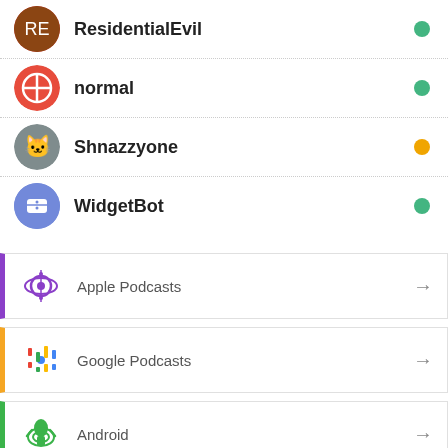ResidentialEvil — online (green)
normal — online (green)
Shnazzyone — idle (orange)
WidgetBot — online (green)
Apple Podcasts
Google Podcasts
Android
by Email